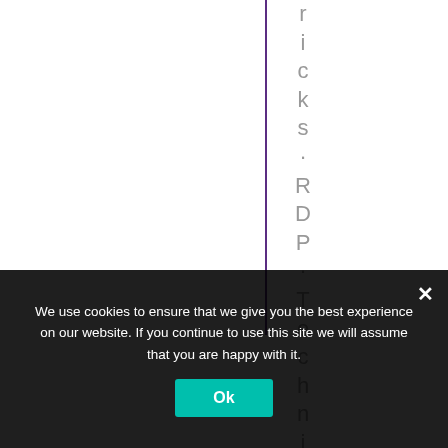r i c k s · R D P · T e c h n i c a
We use cookies to ensure that we give you the best experience on our website. If you continue to use this site we will assume that you are happy with it.